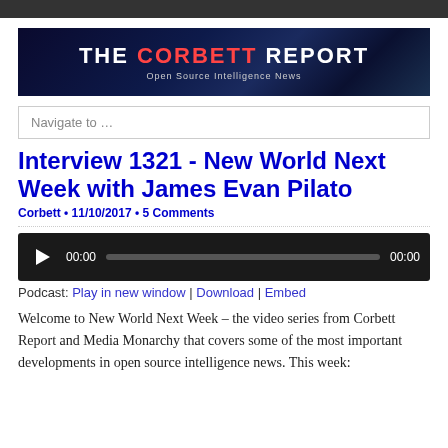[Figure (logo): The Corbett Report banner — dark blue background with globe imagery, white bold text 'THE CORBETT REPORT' with red highlighting on 'CORBETT', subtitle 'Open Source Intelligence News']
Navigate to …
Interview 1321 - New World Next Week with James Evan Pilato
Corbett • 11/10/2017 • 5 Comments
[Figure (other): Audio player widget with play button, time display 00:00, progress bar, and end time 00:00]
Podcast: Play in new window | Download | Embed
Welcome to New World Next Week – the video series from Corbett Report and Media Monarchy that covers some of the most important developments in open source intelligence news. This week: